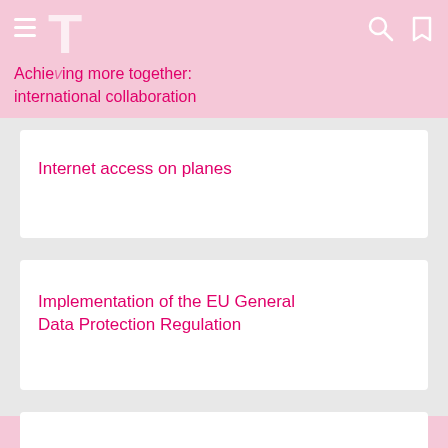Achieving more together: international collaboration
Internet access on planes
Implementation of the EU General Data Protection Regulation